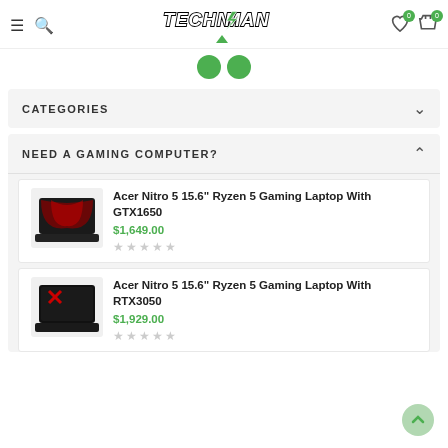[Figure (screenshot): Technoman e-commerce website header with logo, navigation icons (hamburger menu, search, wishlist with badge 0, cart with badge 0), and green dot pagination indicators below]
CATEGORIES
NEED A GAMING COMPUTER?
[Figure (photo): Acer Nitro 5 gaming laptop with red backlit keyboard, viewed from front-left angle on dark background]
Acer Nitro 5 15.6" Ryzen 5 Gaming Laptop With GTX1650
$1,649.00
[Figure (photo): Acer Nitro 5 gaming laptop with red logo on lid, viewed from front-left angle on dark background]
Acer Nitro 5 15.6" Ryzen 5 Gaming Laptop With RTX3050
$1,929.00